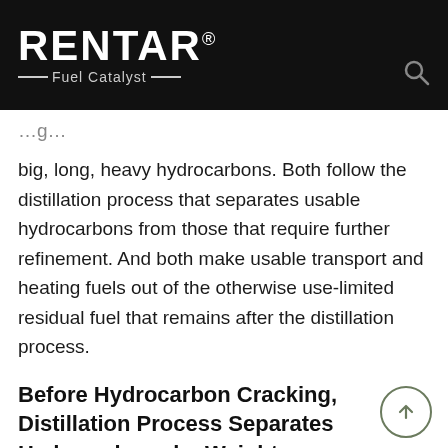RENTAR® Fuel Catalyst
big, long, heavy hydrocarbons. Both follow the distillation process that separates usable hydrocarbons from those that require further refinement. And both make usable transport and heating fuels out of the otherwise use-limited residual fuel that remains after the distillation process.
Before Hydrocarbon Cracking, Distillation Process Separates Hydrocarbons by Weight
Crude oil distillation refinement produces gas-